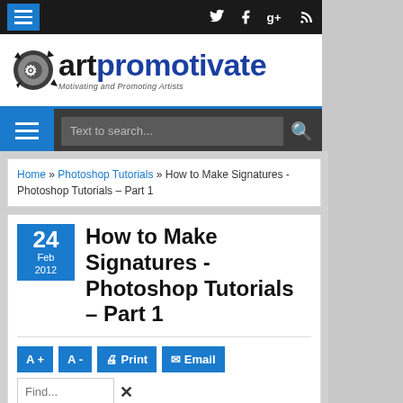artpromotivate - Motivating and Promoting Artists
Home » Photoshop Tutorials » How to Make Signatures - Photoshop Tutorials – Part 1
How to Make Signatures - Photoshop Tutorials – Part 1
24 Feb 2012
A+ A - Print Email Find... ×